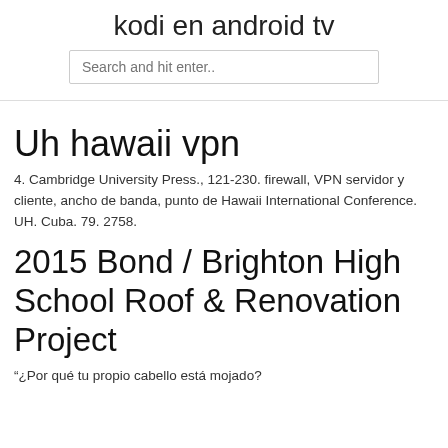kodi en android tv
Search and hit enter..
Uh hawaii vpn
4. Cambridge University Press., 121-230. firewall, VPN servidor y cliente, ancho de banda, punto de Hawaii International Conference. UH. Cuba. 79. 2758.
2015 Bond / Brighton High School Roof & Renovation Project
“¿Por qué tu propio cabello está mojado?